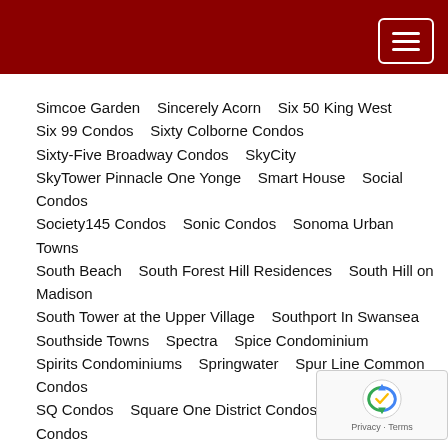Simcoe Garden    Sincerely Acorn    Six 50 King West
Six 99 Condos    Sixty Colborne Condos
Sixty-Five Broadway Condos    SkyCity
SkyTower Pinnacle One Yonge    Smart House    Social Condos
Society145 Condos    Sonic Condos    Sonoma Urban Towns
South Beach    South Forest Hill Residences    South Hill on Madison
South Tower at the Upper Village    Southport In Swansea
Southside Towns    Spectra    Spice Condominium
Spirits Condominiums    Springwater    Spur Line Common Condos
SQ Condos    Square One District Condos    St. Clair Village Condos
Stanley Condos    StationWest Condos    Steeltown Co.
Sterling Junction Condos    Stockyards District Residences
Stonebrook Condominiums Phase II    Strata Condos
Streetsville Village Residences    Studio    Studio II
sugar wharf condos    Summer Palace    SweetLife Condos
Symphony Condos    Sync Lofts    T1 at M2M Condos    Tableau
Tango Phase II    Tango Phase1    Tanu Condos    TAO
Teahouse Condos    Tek tower    Television City Condos    Ten York
TEN88 Condos    TEN93 Queen West    Terrace on Danforth
Terrasse Condos at The Hunt Club
The 228 Condominiums and Towns    The 500    The 6th Angus
The Academy Condominiums    The Addington Condos
The Address at High Park    The Alexandria    The Ambrose Condos